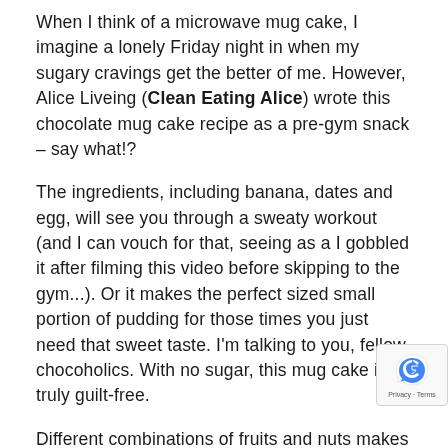When I think of a microwave mug cake, I imagine a lonely Friday night in when my sugary cravings get the better of me. However, Alice Liveing (Clean Eating Alice) wrote this chocolate mug cake recipe as a pre-gym snack – say what!?
The ingredients, including banana, dates and egg, will see you through a sweaty workout (and I can vouch for that, seeing as a I gobbled it after filming this video before skipping to the gym...). Or it makes the perfect sized small portion of pudding for those times you just need that sweet taste. I'm talking to you, fellow chocoholics. With no sugar, this mug cake is truly guilt-free.
Different combinations of fruits and nuts makes this treat filling. Plus it's so easy we can (almost) guarantee it will work every time – no professional chef skills needed.
If you want more indulgent recipes with a h...